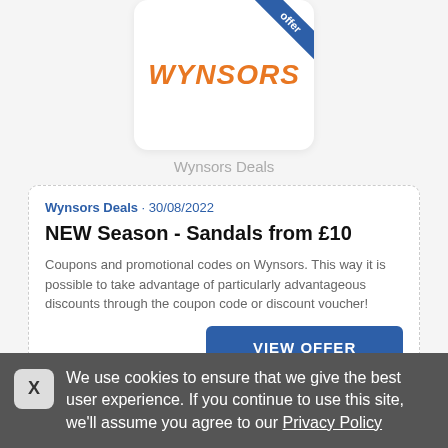[Figure (logo): Wynsors logo card with orange bold italic text 'WYNSORS' and a blue diagonal ribbon banner in top-right corner with text 'offer']
Wynsors Deals
Wynsors Deals • 30/08/2022
NEW Season - Sandals from £10
Coupons and promotional codes on Wynsors. This way it is possible to take advantage of particularly advantageous discounts through the coupon code or discount voucher!
VIEW OFFER
We use cookies to ensure that we give the best user experience. If you continue to use this site, we'll assume you agree to our Privacy Policy